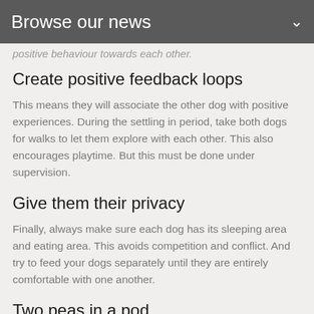Browse our news
positive behaviour towards each other.
Create positive feedback loops
This means they will associate the other dog with positive experiences. During the settling in period, take both dogs for walks to let them explore with each other. This also encourages playtime. But this must be done under supervision.
Give them their privacy
Finally, always make sure each dog has its sleeping area and eating area. This avoids competition and conflict. And try to feed your dogs separately until they are entirely comfortable with one another.
Two peas in a pod